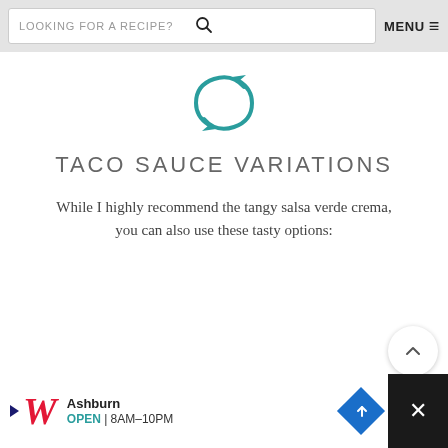LOOKING FOR A RECIPE?  MENU
[Figure (illustration): Teal circular refresh/recycle arrow icon]
TACO SAUCE VARIATIONS
While I highly recommend the tangy salsa verde crema, you can also use these tasty options:
Chipotle Sauce: It's explosively flavorful, creamy, spicy, smoky, and zesty. It's made with chipotle peppers in adobo, cilantro, garlic, lime juice, ground cumin, smoked paprika, sour cream/Greek yogurt and
[Figure (screenshot): Walgreens advertisement banner showing Walgreens Photo and store info: Ashburn OPEN 8AM-10PM]